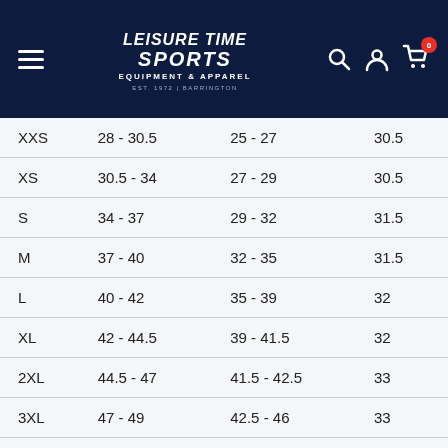Leisure Time Sports — Equipment & Apparel navigation header
| Size | Col2 | Col3 | Col4 |
| --- | --- | --- | --- |
| XXS | 28 - 30.5 | 25 - 27 | 30.5 |
| XS | 30.5 - 34 | 27 - 29 | 30.5 |
| S | 34 - 37 | 29 - 32 | 31.5 |
| M | 37 - 40 | 32 - 35 | 31.5 |
| L | 40 - 42 | 35 - 39 | 32 |
| XL | 42 - 44.5 | 39 - 41.5 | 32 |
| 2XL | 44.5 - 47 | 41.5 - 42.5 | 33 |
| 3XL | 47 - 49 | 42.5 - 46 | 33 |